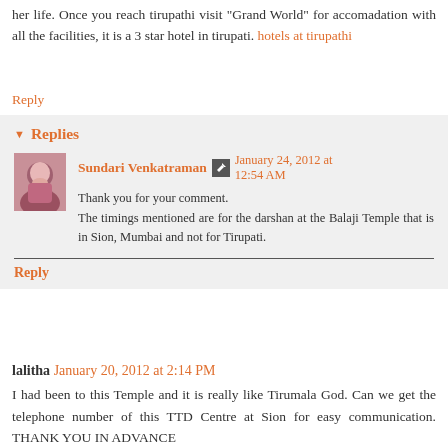her life. Once you reach tirupathi visit "Grand World" for accomadation with all the facilities, it is a 3 star hotel in tirupati. hotels at tirupathi
Reply
Replies
Sundari Venkatraman  January 24, 2012 at 12:54 AM
Thank you for your comment.
The timings mentioned are for the darshan at the Balaji Temple that is in Sion, Mumbai and not for Tirupati.
Reply
lalitha  January 20, 2012 at 2:14 PM
I had been to this Temple and it is really like Tirumala God. Can we get the telephone number of this TTD Centre at Sion for easy communication. THANK YOU IN ADVANCE